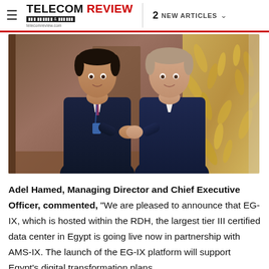TELECOM Review | 2 NEW ARTICLES
[Figure (photo): Two men in business suits shaking hands in a hotel or conference setting. The man on the left is wearing a dark navy suit with a tie and conference lanyard. The man on the right is wearing a dark navy blazer with an open collar shirt. The background shows wooden panel walls and a decorative gold leaf-patterned partition.]
Adel Hamed, Managing Director and Chief Executive Officer, commented, "We are pleased to announce that EG-IX, which is hosted within the RDH, the largest tier III certified data center in Egypt is going live now in partnership with AMS-IX. The launch of the EG-IX platform will support Egypt's digital transformation plans.